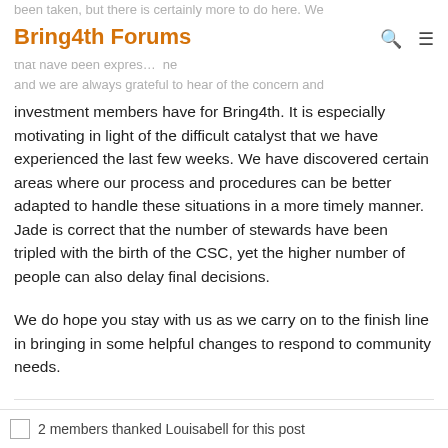Bring4th Forums
investment members have for Bring4th. It is especially motivating in light of the difficult catalyst that we have experienced the last few weeks. We have discovered certain areas where our process and procedures can be better adapted to handle these situations in a more timely manner. Jade is correct that the number of stewards have been tripled with the birth of the CSC, yet the higher number of people can also delay final decisions.
We do hope you stay with us as we carry on to the finish line in bringing in some helpful changes to respond to community needs.
Thanks for all the good times B4! Reach me here: lloubbell234@yahoo.com
2 members thanked Louisabell for this post